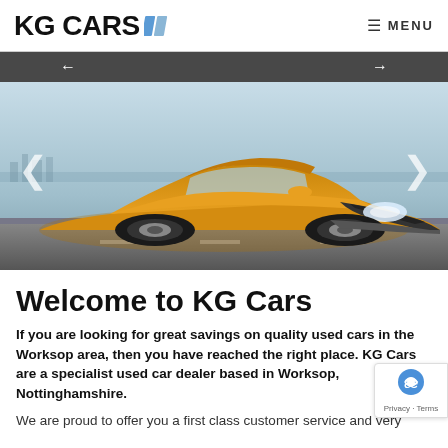KG CARS  ≡ MENU
[Figure (photo): Yellow Ford Focus ST driving on a road, front three-quarter view, against a light blue/grey sky background. Navigation slider bar above the car image with left and right arrows.]
Welcome to KG Cars
If you are looking for great savings on quality used cars in the Worksop area, then you have reached the right place. KG Cars are a specialist used car dealer based in Worksop, Nottinghamshire.
We are proud to offer you a first class customer service and very